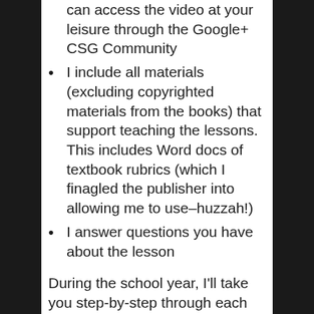can access the video at your leisure through the Google+ CSG Community
I include all materials (excluding copyrighted materials from the books) that support teaching the lessons. This includes Word docs of textbook rubrics (which I finagled the publisher into allowing me to use–huzzah!)
I answer questions you have about the lesson
During the school year, I'll take you step-by-step through each grade level curriculum, but since we're so close to June, I chose themes as a method of introducing this learning style. Here's what I'll cover in the